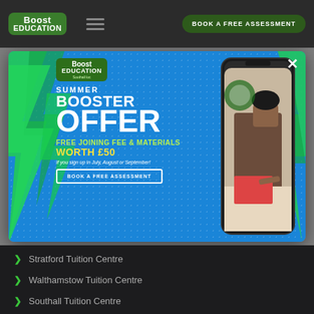[Figure (screenshot): Boost Education website navigation bar with logo, hamburger menu, and 'Book a Free Assessment' button on dark background]
[Figure (infographic): Boost Education Summer Booster Offer popup/modal advertisement with blue dotted background, green lightning bolts, phone mockup showing student studying, and promotional text: Summer Booster Offer, Free Joining Fee & Materials Worth £50, if you sign up in July, August or September. Includes Book a Free Assessment button and close X button.]
Stratford Tuition Centre
Walthamstow Tuition Centre
Southall Tuition Centre